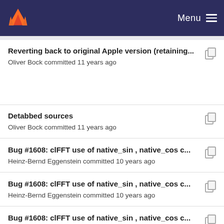Menu
Reverting back to original Apple version (retaining...
Oliver Bock committed 11 years ago
Detabbed sources
Oliver Bock committed 11 years ago
Bug #1608: clFFT use of native_sin , native_cos c...
Heinz-Bernd Eggenstein committed 10 years ago
Bug #1608: clFFT use of native_sin , native_cos c...
Heinz-Bernd Eggenstein committed 10 years ago
Bug #1608: clFFT use of native_sin , native_cos c...
Heinz-Bernd Eggenstein committed 10 years ago